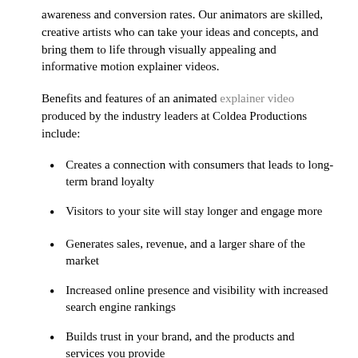awareness and conversion rates. Our animators are skilled, creative artists who can take your ideas and concepts, and bring them to life through visually appealing and informative motion explainer videos.
Benefits and features of an animated explainer video produced by the industry leaders at Coldea Productions include:
Creates a connection with consumers that leads to long-term brand loyalty
Visitors to your site will stay longer and engage more
Generates sales, revenue, and a larger share of the market
Increased online presence and visibility with increased search engine rankings
Builds trust in your brand, and the products and services you provide
Easily shareable on social media to exponentially expand